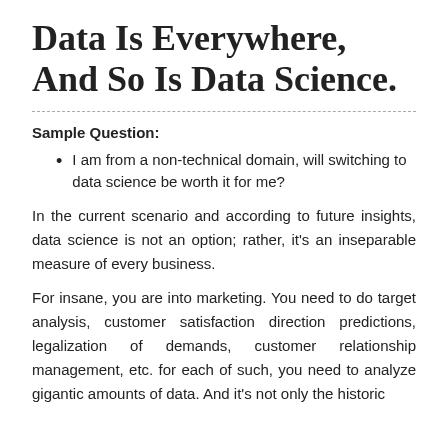Data Is Everywhere, And So Is Data Science.
Sample Question:
I am from a non-technical domain, will switching to data science be worth it for me?
In the current scenario and according to future insights, data science is not an option; rather, it's an inseparable measure of every business.
For insane, you are into marketing. You need to do target analysis, customer satisfaction direction predictions, legalization of demands, customer relationship management, etc. for each of such, you need to analyze gigantic amounts of data. And it's not only the historic